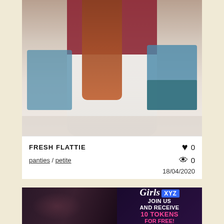[Figure (photo): Person with long red hair wearing dark red top and white jeans, photographed from behind in a room with blue/teal chairs]
FRESH FLATTIE
panties / petite
♥ 0
👁 0
18/04/2020
[Figure (advertisement): Girls.xyz advertisement banner with woman in black lingerie on left, and JOIN US AND RECEIVE 10 TOKENS FOR FREE! text on dark purple background on right]